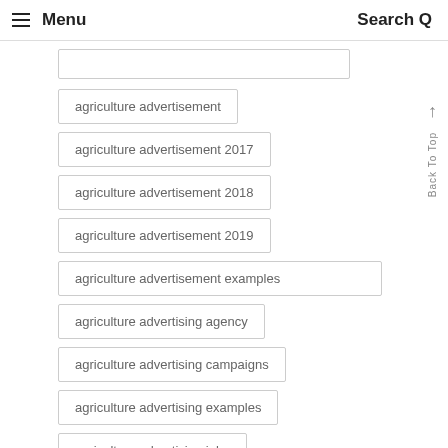Menu  Search
agriculture advertisement
agriculture advertisement 2017
agriculture advertisement 2018
agriculture advertisement 2019
agriculture advertisement examples
agriculture advertising agency
agriculture advertising campaigns
agriculture advertising examples
agriculture advertising jobs